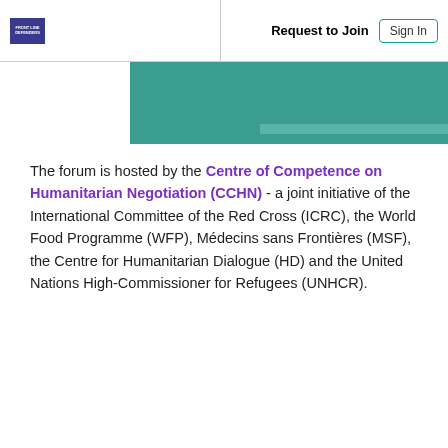Request to Join | Sign In
[Figure (photo): Teal/green banner image cropped at the top of the content area]
The forum is hosted by the Centre of Competence on Humanitarian Negotiation (CCHN) - a joint initiative of the International Committee of the Red Cross (ICRC), the World Food Programme (WFP), Médecins sans Frontières (MSF), the Centre for Humanitarian Dialogue (HD) and the United Nations High-Commissioner for Refugees (UNHCR).